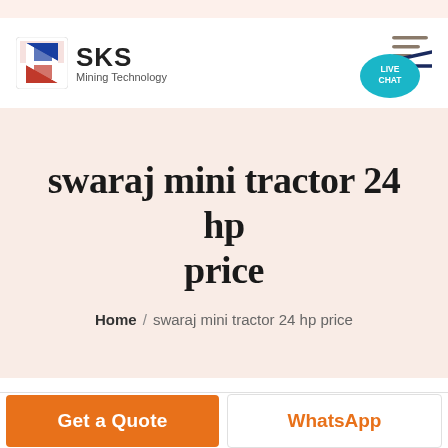[Figure (logo): SKS Mining Technology logo with red and blue diamond-S icon and company name text]
[Figure (illustration): Live Chat button with teal speech bubble and hamburger menu lines in top right corner]
swaraj mini tractor 24 hp price
Home / swaraj mini tractor 24 hp price
Get a Quote
WhatsApp